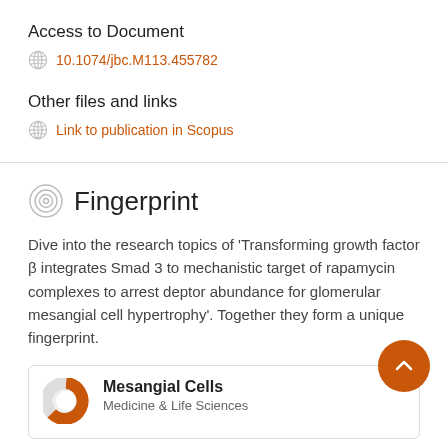Access to Document
10.1074/jbc.M113.455782
Other files and links
Link to publication in Scopus
Fingerprint
Dive into the research topics of 'Transforming growth factor β integrates Smad 3 to mechanistic target of rapamycin complexes to arrest deptor abundance for glomerular mesangial cell hypertrophy'. Together they form a unique fingerprint.
Mesangial Cells
Medicine & Life Sciences